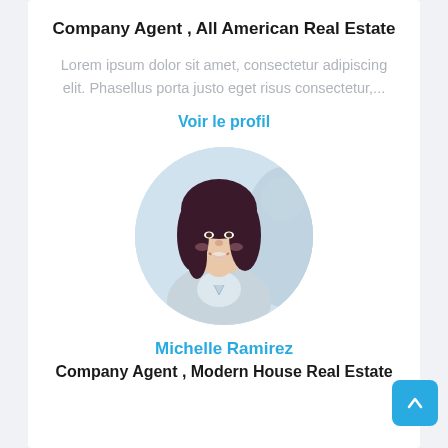Company Agent , All American Real Estate
Lorem ipsum dolor sit amet, consectetur adipiscing elit. Phasellus porta justo eget risus consectetur,...
Voir le profil
[Figure (photo): Circular profile photo of a professional woman with dark hair, smiling, wearing a light-colored blazer, with a blurred male figure in the background.]
Michelle Ramirez
Company Agent , Modern House Real Estate